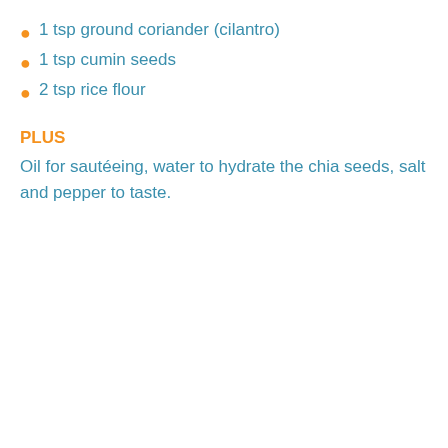1 tsp ground coriander (cilantro)
1 tsp cumin seeds
2 tsp rice flour
PLUS
Oil for sautéeing, water to hydrate the chia seeds, salt and pepper to taste.